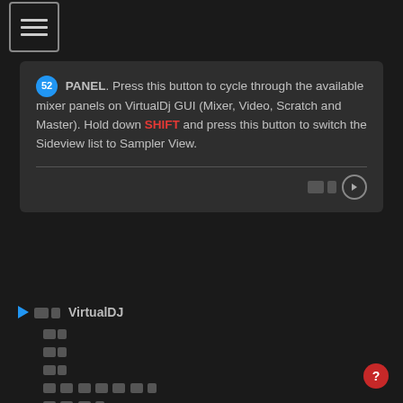[Figure (screenshot): Hamburger menu icon button in top-left corner with three horizontal lines inside a rounded rectangle border]
52 PANEL. Press this button to cycle through the available mixer panels on VirtualDj GUI (Mixer, Video, Scratch and Master). Hold down SHIFT and press this button to switch the Sideview list to Sampler View.
[Figure (screenshot): Navigation tree showing VirtualDJ with collapsed items below it represented as pixel/icon boxes]
[Figure (screenshot): Red circular help/question mark button in bottom-right corner]